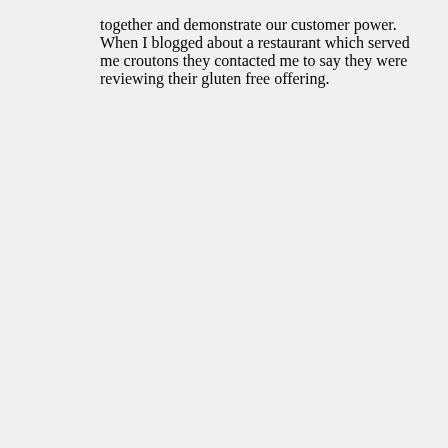together and demonstrate our customer power. When I blogged about a restaurant which served me croutons they contacted me to say they were reviewing their gluten free offering.
Kevin Gollop on November 4, 2012 at 5:30 pm
Thanks for the comment Liz. I agree strongly, as a collective we have the power to influence and it's important as many of us as possible do our bit with regards contacting